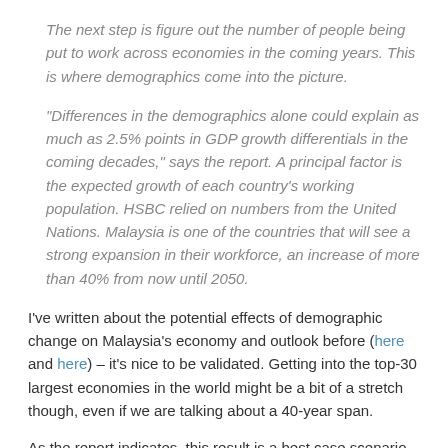The next step is figure out the number of people being put to work across economies in the coming years. This is where demographics come into the picture.
“Differences in the demographics alone could explain as much as 2.5% points in GDP growth differentials in the coming decades,” says the report. A principal factor is the expected growth of each country’s working population. HSBC relied on numbers from the United Nations. Malaysia is one of the countries that will see a strong expansion in their workforce, an increase of more than 40% from now until 2050.
I’ve written about the potential effects of demographic change on Malaysia’s economy and outlook before (here and here) – it’s nice to be validated. Getting into the top-30 largest economies in the world might be a bit of a stretch though, even if we are talking about a 40-year span.
As the report indicates, this result is a best case scenario,